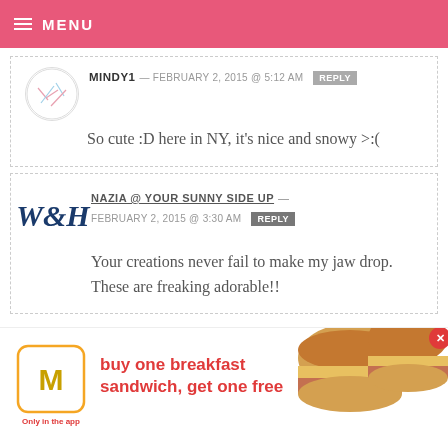MENU
MINDY1 — FEBRUARY 2, 2015 @ 5:12 AM  REPLY
So cute :D here in NY, it's nice and snowy >:(
NAZIA @ YOUR SUNNY SIDE UP — FEBRUARY 2, 2015 @ 3:30 AM  REPLY
Your creations never fail to make my jaw drop. These are freaking adorable!!
[Figure (screenshot): McDonald's app advertisement: buy one breakfast sandwich, get one free. Only in the app. Shows McDonald's logo and food image of breakfast sandwiches.]